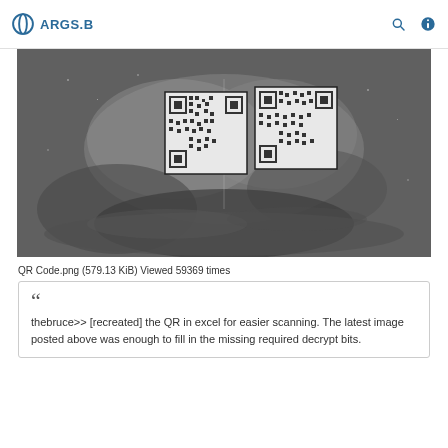ARGS.B
[Figure (photo): Grayscale photograph of what appears to be a human hand or body part with two QR codes overlaid on the image in the upper-center area, split by a vertical line.]
QR Code.png (579.13 KiB) Viewed 59369 times
thebruce>> [recreated] the QR in excel for easier scanning. The latest image posted above was enough to fill in the missing required decrypt bits.